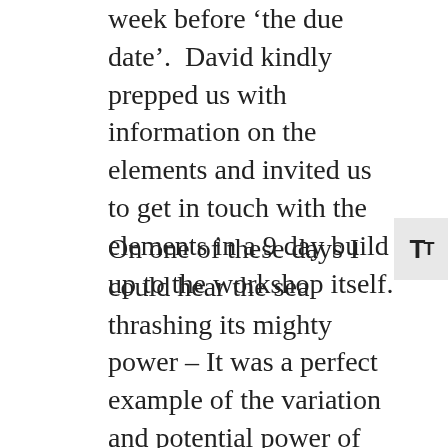week before 'the due date'.  David kindly prepped us with information on the elements and invited us to get in touch with the elements in a 9 day build up to the workshop itself.
On one of these days I could hear the sea thrashing its mighty power – It was a perfect example of the variation and potential power of each element – when there is not enough or when there is too much.  I like to think this particular day was perfect